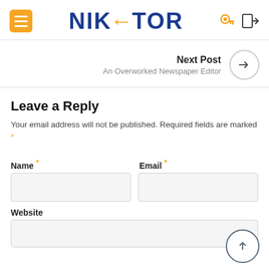NIKTOR - Navigation header with menu icon, logo, key icon, and login icon
Next Post
An Overworked Newspaper Editor
Leave a Reply
Your email address will not be published. Required fields are marked *
Name *
Email *
Website